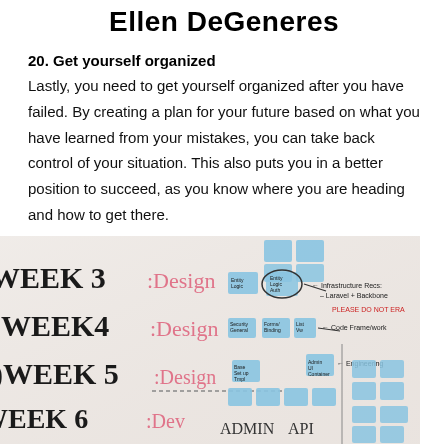Ellen DeGeneres
20. Get yourself organized
Lastly, you need to get yourself organized after you have failed. By creating a plan for your future based on what you have learned from your mistakes, you can take back control of your situation. This also puts you in a better position to succeed, as you know where you are heading and how to get there.
[Figure (photo): A whiteboard showing a weekly project plan with weeks 3 through 6 labeled (Week 3: Design, Week 4: Design, Week 5: Design, Week 6: Dev), with blue sticky notes arranged in columns and handwritten annotations including 'Infrastructure Recs: Laravel + Backbone', 'Code Frame/work', 'Engineering', 'Admin API'.]